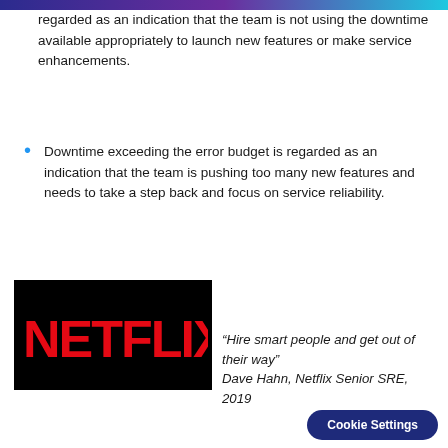regarded as an indication that the team is not using the downtime available appropriately to launch new features or make service enhancements.
Downtime exceeding the error budget is regarded as an indication that the team is pushing too many new features and needs to take a step back and focus on service reliability.
[Figure (logo): Netflix logo — red text on black background]
“Hire smart people and get out of their way” Dave Hahn, Netflix Senior SRE, 2019
Cookie Settings